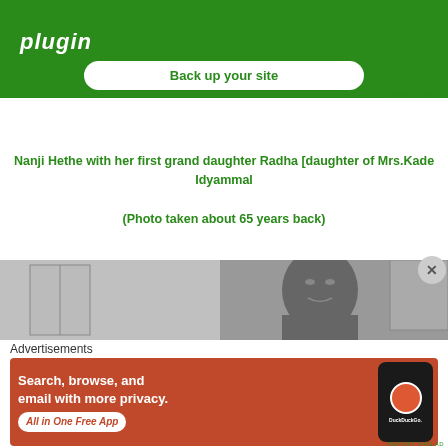[Figure (screenshot): Green advertisement banner with 'plugin' text and 'Back up your site' button]
Nanji Hethe with her first grand daughter Radha [daughter of Mrs.Kade Idyammal
(Photo taken about 65 years back)
[Figure (photo): Black and white photograph showing a person's head/face]
Advertisements
[Figure (screenshot): DuckDuckGo advertisement - Search, browse, and email with more privacy. All in One Free App]